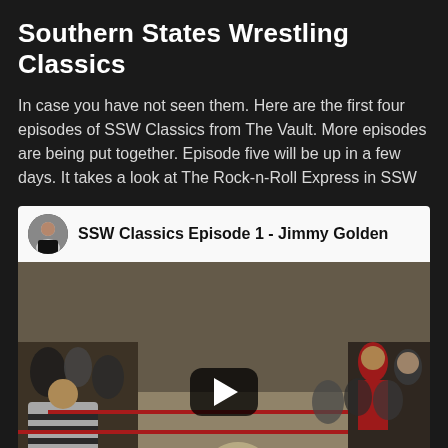Southern States Wrestling Classics
In case you have not seen them. Here are the first four episodes of SSW Classics from The Vault. More episodes are being put together. Episode five will be up in a few days. It takes a look at The Rock-n-Roll Express in SSW
[Figure (screenshot): Embedded YouTube video thumbnail showing 'SSW Classics Episode 1 - Jimmy Golden' with a wrestling match scene inside a ring, spectators visible, and a YouTube play button overlay. A circular avatar of a man in a black shirt is shown next to the video title in the header bar.]